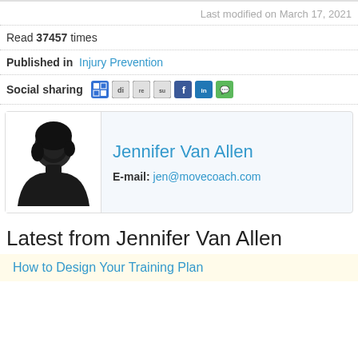Last modified on March 17, 2021
Read 37457 times
Published in Injury Prevention
Social sharing
[Figure (other): Author profile card with silhouette photo of Jennifer Van Allen and email jen@movecoach.com]
Latest from Jennifer Van Allen
How to Design Your Training Plan